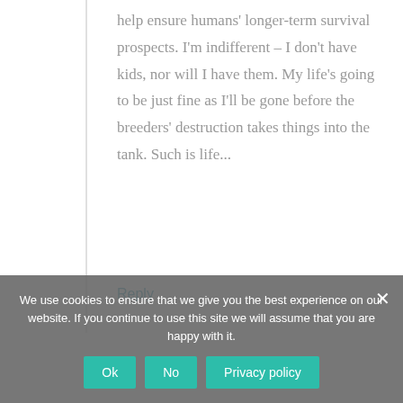help ensure humans' longer-term survival prospects. I'm indifferent – I don't have kids, nor will I have them. My life's going to be just fine as I'll be gone before the breeders' destruction takes things into the tank. Such is life...
Reply
We use cookies to ensure that we give you the best experience on our website. If you continue to use this site we will assume that you are happy with it.